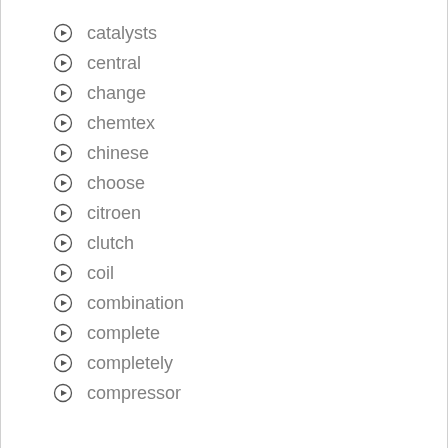catalysts
central
change
chemtex
chinese
choose
citroen
clutch
coil
combination
complete
completely
compressor